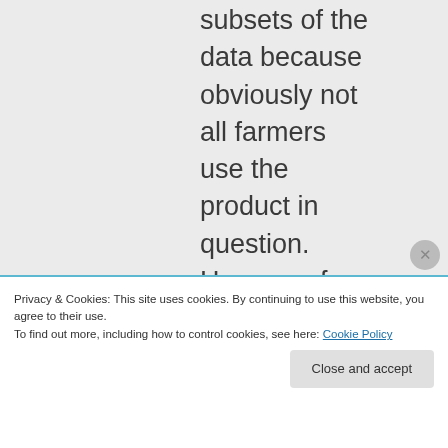subsets of the data because obviously not all farmers use the product in question. However, far more used glyphosate than used
Privacy & Cookies: This site uses cookies. By continuing to use this website, you agree to their use.
To find out more, including how to control cookies, see here: Cookie Policy